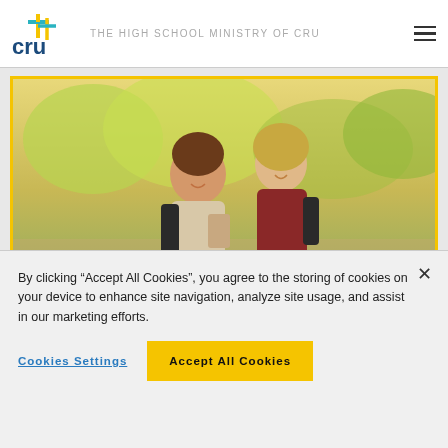[Figure (logo): Cru+ logo with cross icon and text 'cru' in dark blue/teal]
THE HIGH SCHOOL MINISTRY OF CRU
[Figure (photo): Two young women smiling and looking at a phone, outdoors with trees in background, framed with yellow border]
By clicking “Accept All Cookies”, you agree to the storing of cookies on your device to enhance site navigation, analyze site usage, and assist in our marketing efforts.
Cookies Settings
Accept All Cookies